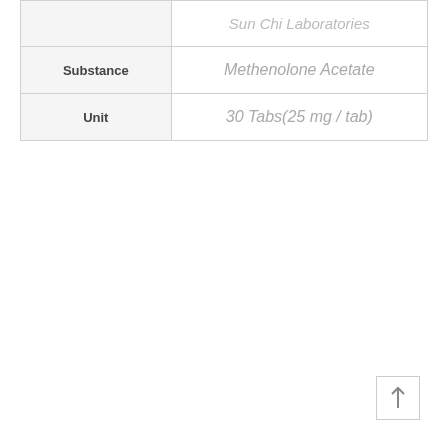|  | Sun Chi Laboratories |
| Substance | Methenolone Acetate |
| Unit | 30 Tabs(25 mg / tab) |